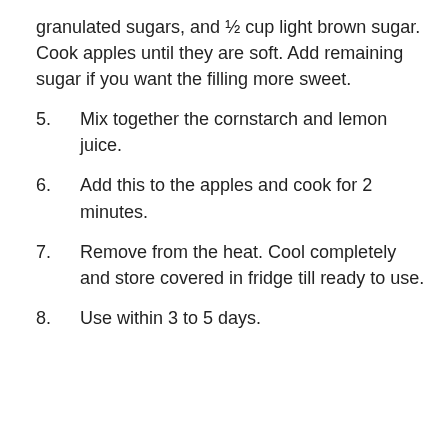granulated sugars, and ½ cup light brown sugar. Cook apples until they are soft. Add remaining sugar if you want the filling more sweet.
5.   Mix together the cornstarch and lemon juice.
6.   Add this to the apples and cook for 2 minutes.
7.   Remove from the heat. Cool completely and store covered in fridge till ready to use.
8.   Use within 3 to 5 days.